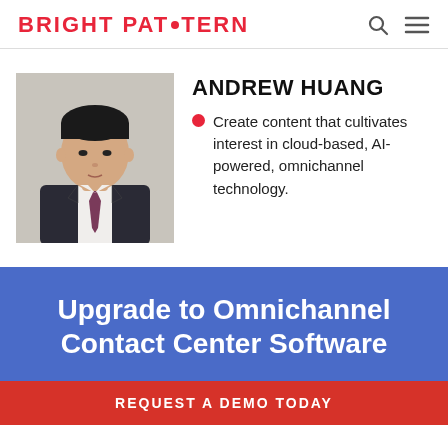BRIGHT PATTERN
[Figure (photo): Headshot of Andrew Huang, a young Asian man in a dark suit and tie, against a light background]
ANDREW HUANG
Create content that cultivates interest in cloud-based, AI-powered, omnichannel technology.
Upgrade to Omnichannel Contact Center Software
REQUEST A DEMO TODAY